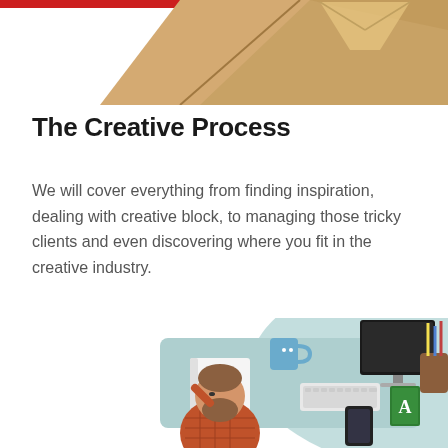[Figure (illustration): Partial view of a wooden desk or table surface with a red accent at the top left corner, cropped at the top of the page.]
The Creative Process
We will cover everything from finding inspiration, dealing with creative block, to managing those tricky clients and even discovering where you fit in the creative industry.
[Figure (illustration): Illustration of a bearded man sitting casually in front of a desk with a computer monitor, keyboard, mouse, coffee mug, notebook, pencil holder, phone, and design book, suggesting a creative workspace.]